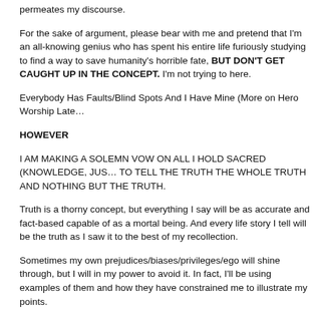permeates my discourse.
For the sake of argument, please bear with me and pretend that I'm an all-knowing genius who has spent his entire life furiously studying to find a way to save humanity's horrible fate, BUT DON'T GET CAUGHT UP IN THE CONCEPT. I'm not trying to here.
Everybody Has Faults/Blind Spots And I Have Mine (More on Hero Worship Late…
HOWEVER
I AM MAKING A SOLEMN VOW ON ALL I HOLD SACRED (KNOWLEDGE, JUS… TO TELL THE TRUTH THE WHOLE TRUTH AND NOTHING BUT THE TRUTH.
Truth is a thorny concept, but everything I say will be as accurate and fact-based capable of as a mortal being. And every life story I tell will be the truth as I saw it to the best of my recollection.
Sometimes my own prejudices/biases/privileges/ego will shine through, but I will in my power to avoid it. In fact, I'll be using examples of them and how they have constrained me to illustrate my points.
And I'll be depending on others to keep me honest.
While I'll gladly accept valid good faith criticisms and/or fact checks, I REFUSE t… "debating" the reality of what I say. If you can't handle what I'm saying, then go a…
Our enemy has countless minions who seek out people speaking the truth and…